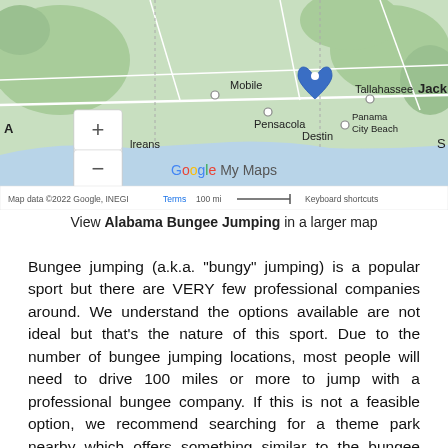[Figure (map): Google My Maps screenshot showing the Gulf Coast region with a pin dropped near Destin, Florida. Cities labeled include Mobile, Pensacola, Destin, Tallahassee, Panama City Beach, and Jacksonville (partially visible as 'Jack'). Map zoom controls (+/-) visible on left. Google My Maps branding and map attribution at bottom.]
View Alabama Bungee Jumping in a larger map
Bungee jumping (a.k.a. “bungy” jumping) is a popular sport but there are VERY few professional companies around. We understand the options available are not ideal but that’s the nature of this sport. Due to the number of bungee jumping locations, most people will need to drive 100 miles or more to jump with a professional bungee company. If this is not a feasible option, we recommend searching for a theme park nearby which offers something similar to the bungee jumping experience. You may also